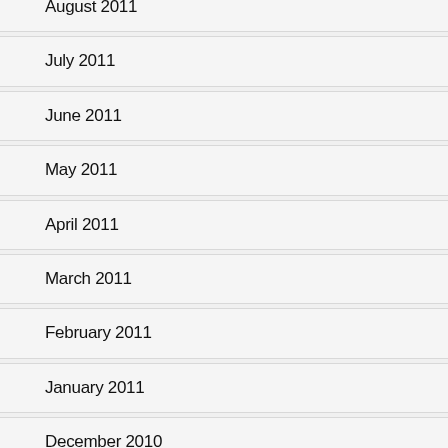August 2011
July 2011
June 2011
May 2011
April 2011
March 2011
February 2011
January 2011
December 2010
October 2010
September 2010
August 2010